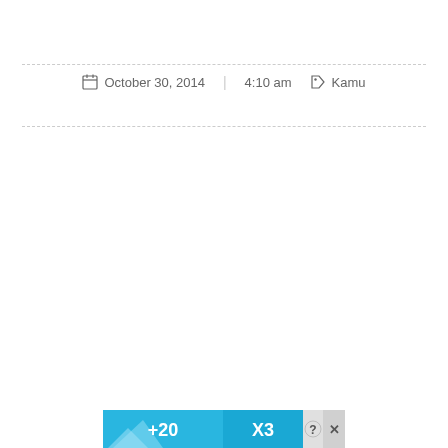October 30, 2014  •  4:10 am  🏷 Kamu
[Figure (screenshot): Advertisement banner at bottom with blue background showing '+20' and 'X3' text with a question mark and close button]